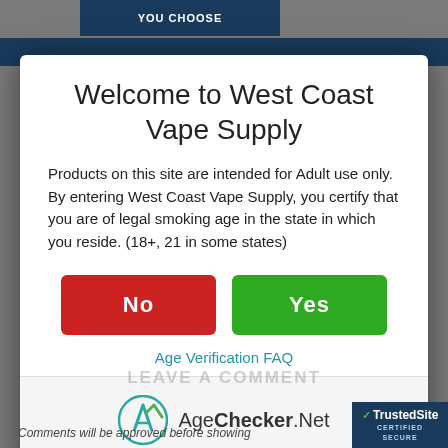Welcome to West Coast Vape Supply
Products on this site are intended for Adult use only. By entering West Coast Vape Supply, you certify that you are of legal smoking age in the state in which you reside. (18+, 21 in some states)
No
Yes
Age Verification FAQ
[Figure (logo): AgeChecker.Net logo with teal checkmark icon]